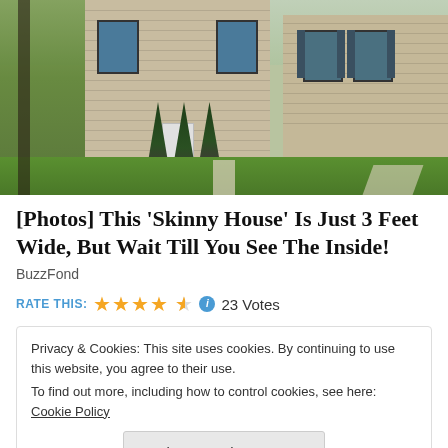[Figure (photo): Exterior photo of a large colonial-style house with beige/tan siding, front door, arched windows, green lawn, evergreen trees, and brick accents on the right wing.]
[Photos] This 'Skinny House' Is Just 3 Feet Wide, But Wait Till You See The Inside!
BuzzFond
RATE THIS: ★★★★½ ℹ 23 Votes
Privacy & Cookies: This site uses cookies. By continuing to use this website, you agree to their use.
To find out more, including how to control cookies, see here: Cookie Policy
Close and accept
One blogger likes this.